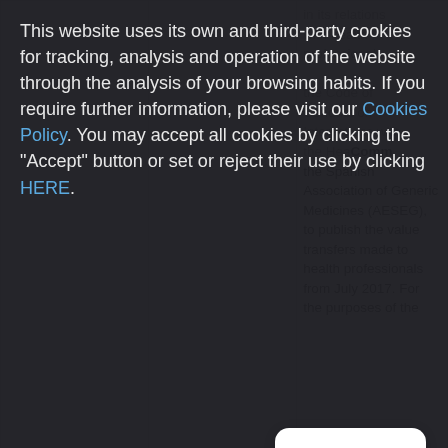This website uses its own and third-party cookies for tracking, analysis and operation of the website through the analysis of your browsing habits. If you require further information, please visit our Cookies Policy. You may accept all cookies by clicking the "Accept" button or set or reject their use by clicking HERE.
|  |  |  |
| --- | --- | --- |
|  |  | in its relations with health professionals, the Code of Conduct on Interactions with the Healthcare Community of the Spanish Association of Generic Medicines (AESEG), to publish the value transfers made to health professionals from July 2017. For the purposes of the |